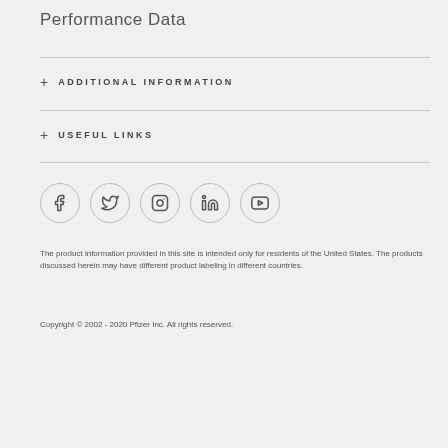Performance Data
+ ADDITIONAL INFORMATION
+ USEFUL LINKS
[Figure (infographic): Social media icons in circles: Facebook, Twitter, Instagram, LinkedIn, YouTube]
The product information provided in this site is intended only for residents of the United States. The products discussed herein may have different product labeling in different countries.
Copyright © 2002 - 2020 Pfizer Inc. All rights reserved.